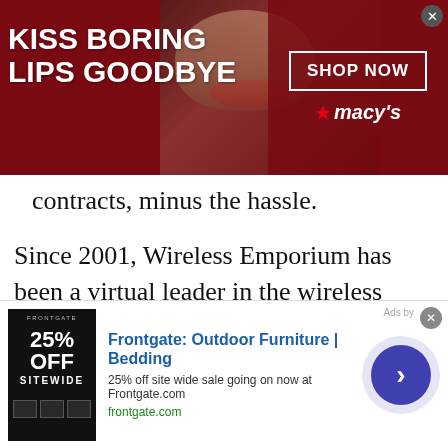[Figure (screenshot): Advertisement banner for Macy's. Dark red/maroon background with a woman's face showing red lips in the center. Left side reads 'KISS BORING LIPS GOODBYE' in white bold text. Right side has a 'SHOP NOW' button in a white box and the Macy's star logo.]
contracts, minus the hassle.
Since 2001, Wireless Emporium has been a virtual leader in the wireless industry. No matter which cell phone model you currently own, Wireless Emporium will get you all charged up, offering the best cell phone accessories featured at the best prices available, anywhere.
[Figure (screenshot): Advertisement banner for Frontgate: Outdoor Furniture | Bedding. Shows '25% off site wide sale going on now at Frontgate.com' with frontgate.com URL. Has a product image on left, blue arrow button on right, and a close X button.]